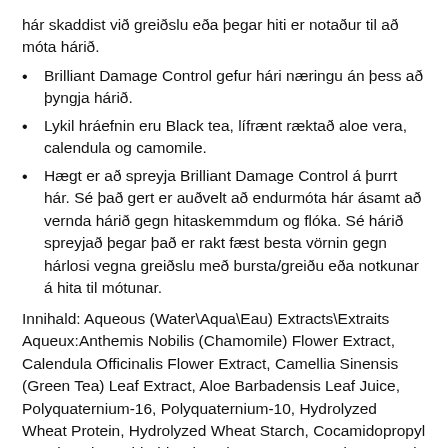hár skaddist við greiðslu eða þegar hiti er notaður til að móta hárið.
Brilliant Damage Control gefur hári næringu án þess að þyngja hárið.
Lykil hráefnin eru Black tea, lífrænt ræktað aloe vera, calendula og camomile.
Hægt er að spreyja Brilliant Damage Control á þurrt hár. Sé það gert er auðvelt að endurmóta hár ásamt að vernda hárið gegn hitaskemmdum og flóka. Sé hárið spreyjað þegar það er rakt fæst besta vörnin gegn hárlosi vegna greiðslu með bursta/greiðu eða notkunar á hita til mótunar.
Innihald: Aqueous (Water\Aqua\Eau) Extracts\Extraits Aqueux:Anthemis Nobilis (Chamomile) Flower Extract, Calendula Officinalis Flower Extract, Camellia Sinensis (Green Tea) Leaf Extract, Aloe Barbadensis Leaf Juice, Polyquaternium-16, Polyquaternium-10, Hydrolyzed Wheat Protein, Hydrolyzed Wheat Starch, Cocamidopropyl Pg-Dimonium Chloride Phosphate, Peg-40 Hydrogenated Castor